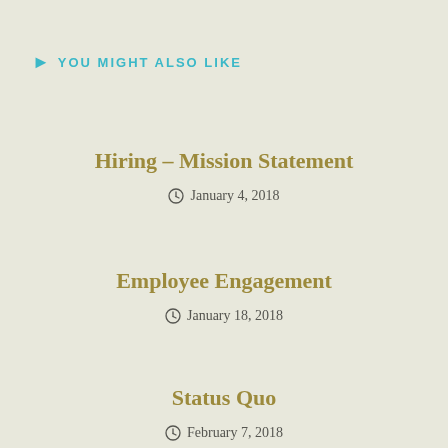YOU MIGHT ALSO LIKE
Hiring – Mission Statement
January 4, 2018
Employee Engagement
January 18, 2018
Status Quo
February 7, 2018